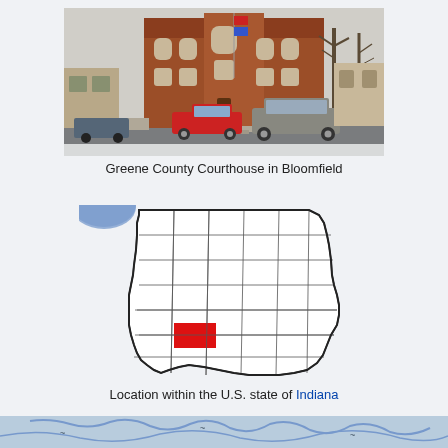[Figure (photo): Photograph of Greene County Courthouse in Bloomfield, Indiana — a red brick building with snow on the ground, vehicles parked in front, and bare trees to the right.]
Greene County Courthouse in Bloomfield
[Figure (map): Map of Indiana showing county outlines, with Greene County highlighted in red, located in the south-central part of the state. A blue arc appears in the upper-left corner of the map.]
Location within the U.S. state of Indiana
[Figure (map): Partial view of a lower map, cropped at the bottom of the page.]